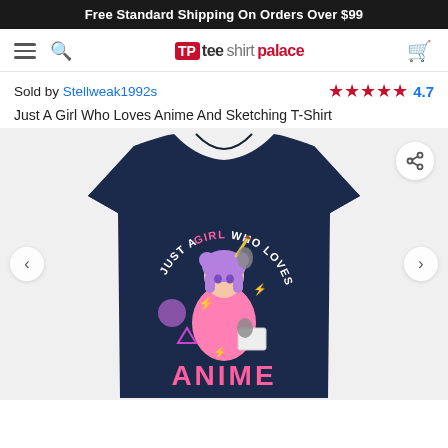Free Standard Shipping On Orders Over $99
[Figure (logo): Tee Shirt Palace logo with hamburger menu, search icon, and cart icon navigation bar]
Sold by Stellweak1992s
★★★★★ 4.7
Just A Girl Who Loves Anime And Sketching T-Shirt
[Figure (photo): Navy blue t-shirt with anime girl graphic. Text on shirt reads JUST A GIRL WHO LOVES ANIME in pink and white lettering, featuring a purple-haired anime girl holding a pencil and sketchbook, with lightning bolt and geometric decorative elements.]